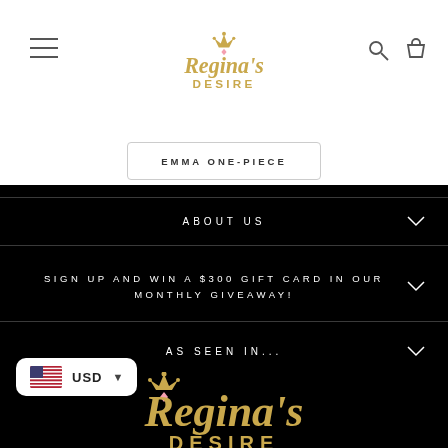Regina's Desire - header navigation with hamburger menu, logo, search and cart icons
EMMA ONE-PIECE
ABOUT US
SIGN UP AND WIN A $300 GIFT CARD IN OUR MONTHLY GIVEAWAY!
AS SEEN IN...
[Figure (logo): Regina's Desire logo in gold on black background, bottom of page]
USD currency selector widget with US flag